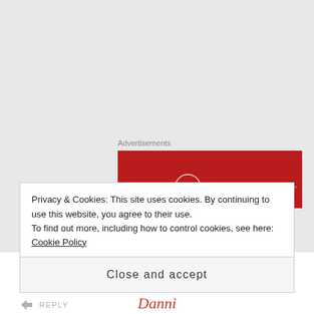Advertisements
[Figure (logo): Longreads red banner advertisement with circular L logo and LONGREADS text in white on dark red background]
[Figure (illustration): Circular avatar with green geometric star/snowflake pattern on white background]
Danni
Hi
Privacy & Cookies: This site uses cookies. By continuing to use this website, you agree to their use.
To find out more, including how to control cookies, see here: Cookie Policy
Close and accept